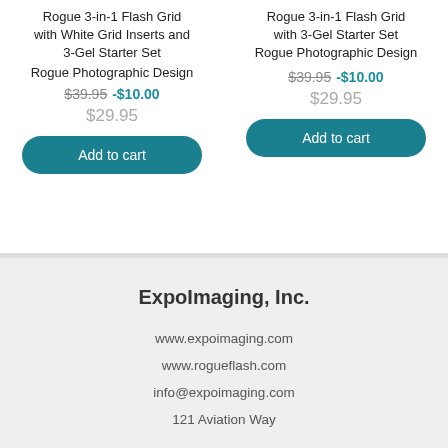Rogue 3-in-1 Flash Grid with White Grid Inserts and 3-Gel Starter Set
Rogue Photographic Design
$39.95 -$10.00
$29.95
Add to cart
Rogue 3-in-1 Flash Grid with 3-Gel Starter Set
Rogue Photographic Design
$39.95 -$10.00
$29.95
Add to cart
ExpoImaging, Inc.
www.expoimaging.com
www.rogueflash.com
info@expoimaging.com
121 Aviation Way